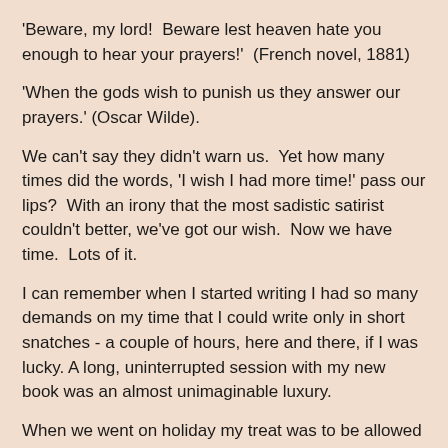'Beware, my lord!  Beware lest heaven hate you enough to hear your prayers!'  (French novel, 1881)
'When the gods wish to punish us they answer our prayers.' (Oscar Wilde).
We can't say they didn't warn us.  Yet how many times did the words, 'I wish I had more time!' pass our lips?  With an irony that the most sadistic satirist couldn't better, we've got our wish.  Now we have time.  Lots of it.
I can remember when I started writing I had so many demands on my time that I could write only in short snatches - a couple of hours, here and there, if I was lucky. A long, uninterrupted session with my new book was an almost unimaginable luxury.
When we went on holiday my treat was to be allowed to get up at six when no one else was allowed to come downstairs till nine.  This was when we had a favourite French gite that we went to for years; it had a wonderful terasse looking out